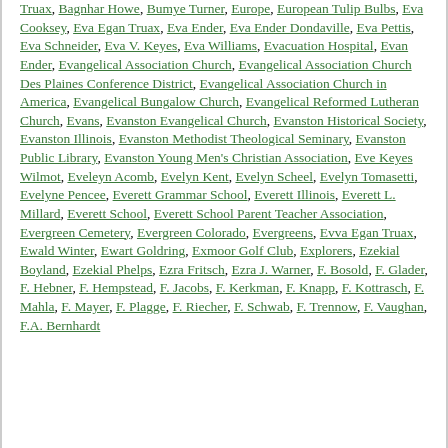Truax, Bagnhar Howe, Bumye Turner, Europe, European Tulip Bulbs, Eva Cooksey, Eva Egan Truax, Eva Ender, Eva Ender Dondaville, Eva Pettis, Eva Schneider, Eva V. Keyes, Eva Williams, Evacuation Hospital, Evan Ender, Evangelical Association Church, Evangelical Association Church Des Plaines Conference District, Evangelical Association Church in America, Evangelical Bungalow Church, Evangelical Reformed Lutheran Church, Evans, Evanston Evangelical Church, Evanston Historical Society, Evanston Illinois, Evanston Methodist Theological Seminary, Evanston Public Library, Evanston Young Men's Christian Association, Eve Keyes Wilmot, Eveleyn Acomb, Evelyn Kent, Evelyn Scheel, Evelyn Tomasetti, Evelyne Pencee, Everett Grammar School, Everett Illinois, Everett L. Millard, Everett School, Everett School Parent Teacher Association, Evergreen Cemetery, Evergreen Colorado, Evergreens, Evva Egan Truax, Ewald Winter, Ewart Goldring, Exmoor Golf Club, Explorers, Ezekial Boyland, Ezekial Phelps, Ezra Fritsch, Ezra J. Warner, F. Bosold, F. Glader, F. Hebner, F. Hempstead, F. Jacobs, F. Kerkman, F. Knapp, F. Kottrasch, F. Mahla, F. Mayer, F. Plagge, F. Riecher, F. Schwab, F. Trennow, F. Vaughan, F.A. Bernhardt